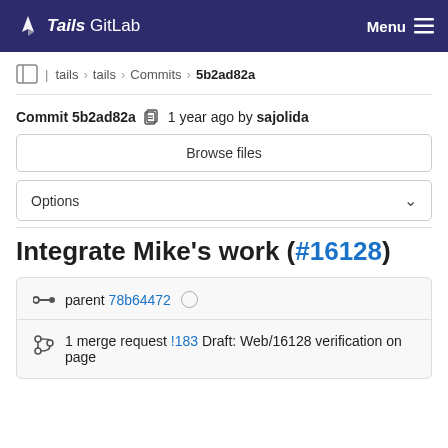Tails GitLab   Menu
tails > tails > Commits > 5b2ad82a
Commit 5b2ad82a  1 year ago by sajolida
Browse files
Options
Integrate Mike's work (#16128)
parent 78b64472
1 merge request !183 Draft: Web/16128 verification on page